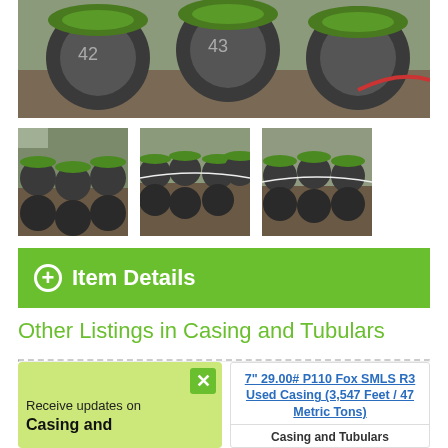[Figure (photo): Main photo showing green-capped steel casing/tubular pipes stacked in a warehouse or yard]
[Figure (photo): Thumbnail 1: Stacked steel pipes with green caps in a warehouse]
[Figure (photo): Thumbnail 2: Stacked steel pipes with green caps, closer view]
[Figure (photo): Thumbnail 3: Stacked steel pipes with green caps, another angle]
+ Item Details
Other Listings in Casing and Tubulars
Receive updates on Casing and Tubulars
7" 29.00# P110 Fox SMLS R3 Used Casing (3,547 Feet / 47 Metric Tons)
Casing and Tubulars